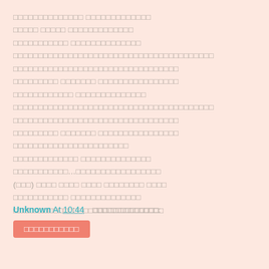[Thai/redacted text block - multiple lines of placeholder block characters representing body content]
Unknown At 10:44   [Thai label]:
[Thai button label]